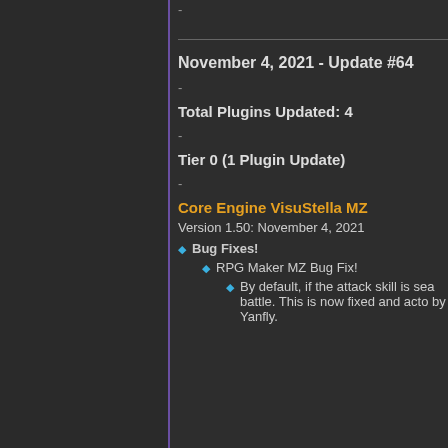-
November 4, 2021 - Update #64
-
Total Plugins Updated: 4
-
Tier 0 (1 Plugin Update)
-
Core Engine VisuStella MZ
Version 1.50: November 4, 2021
Bug Fixes!
RPG Maker MZ Bug Fix!
By default, if the attack skill is sea battle. This is now fixed and acto by Yanfly.